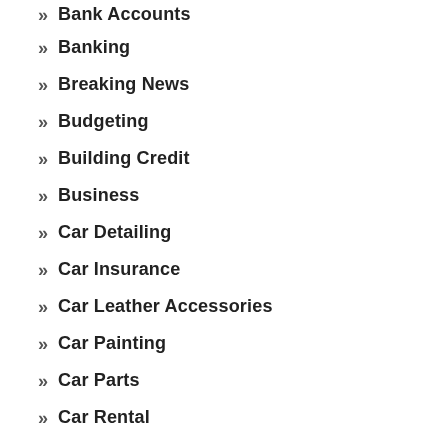Bank Accounts
Banking
Breaking News
Budgeting
Building Credit
Business
Car Detailing
Car Insurance
Car Leather Accessories
Car Painting
Car Parts
Car Rental